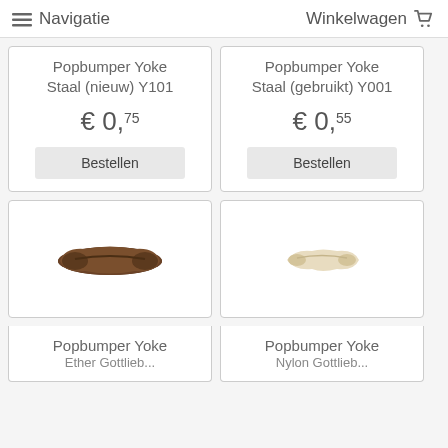≡ Navigatie   Winkelwagen 🛒
Popbumper Yoke Staal (nieuw) Y101
€ 0,75
Bestellen
Popbumper Yoke Staal (gebruikt) Y001
€ 0,55
Bestellen
[Figure (photo): Brown curved popbumper yoke part on white background]
[Figure (photo): Cream/beige colored popbumper yoke part on white background]
Popbumper Yoke
Popbumper Yoke